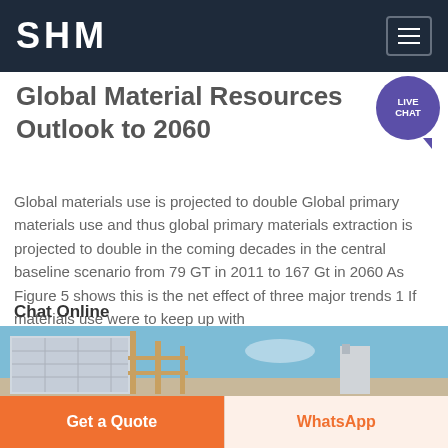SHM
Global Material Resources Outlook to 2060
Global materials use is projected to double Global primary materials use and thus global primary materials extraction is projected to double in the coming decades in the central baseline scenario from 79 GT in 2011 to 167 Gt in 2060 As Figure 5 shows this is the net effect of three major trends 1 If materials use were to keep up with
Chat Online
[Figure (photo): Industrial facility or mining equipment photographed against a blue sky]
Get a Quote
WhatsApp